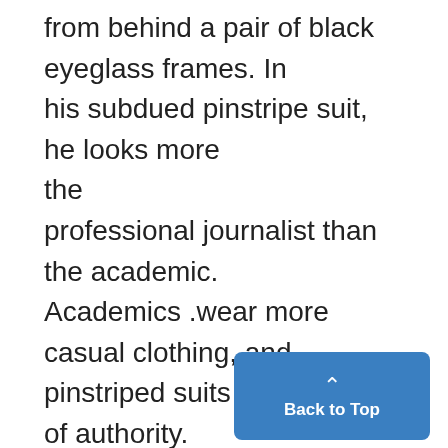from behind a pair of black eyeglass frames. In his subdued pinstripe suit, he looks more the professional journalist than the academic. Academics .wear more casual clothing, and pinstriped suits are a badge of authority. He doesn't fit the stereotype of a journalist, however. His clothing isn't chic enough to pass him off as a glamour journalist, and it's too elegant for the seedy, rumpled look of wire service reporters. In either area pass,